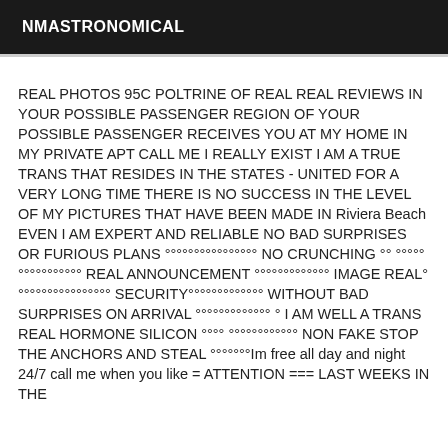NMASTRONOMICAL
REAL PHOTOS 95C POLTRINE OF REAL REAL REVIEWS IN YOUR POSSIBLE PASSENGER REGION OF YOUR POSSIBLE PASSENGER RECEIVES YOU AT MY HOME IN MY PRIVATE APT CALL ME I REALLY EXIST I AM A TRUE TRANS THAT RESIDES IN THE STATES - UNITED FOR A VERY LONG TIME THERE IS NO SUCCESS IN THE LEVEL OF MY PICTURES THAT HAVE BEEN MADE IN Riviera Beach EVEN I AM EXPERT AND RELIABLE NO BAD SURPRISES OR FURIOUS PLANS °°°°°°°°°°°°°°°° NO CRUNCHING °° °°°°°°°°°°°°°°°° REAL ANNOUNCEMENT °°°°°°°°°°°°° IMAGE REAL°°°°°°°°°°°°°°°°° SECURITY°°°°°°°°°°°°° WITHOUT BAD SURPRISES ON ARRIVAL °°°°°°°°°°°°° ° I AM WELL A TRANS REAL HORMONE SILICON °°°° °°°°°°°°°°°° NON FAKE STOP THE ANCHORS AND STEAL °°°°°°°Im free all day and night 24/7 call me when you like = ATTENTION === LAST WEEKS IN THE